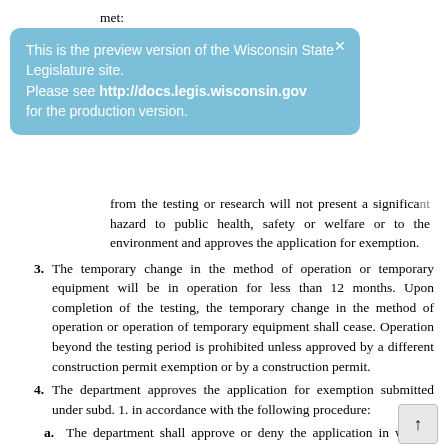met:
[Figure (screenshot): Blue tooltip/notification box reading: 'This is the preview version of the Wisconsin State Legislature site. Please see http://docs.legis.wisconsin.gov for the production version.' with an X close button.]
from the testing or research will not present a significant hazard to public health, safety or welfare or to the environment and approves the application for exemption.
3. The temporary change in the method of operation or temporary equipment will be in operation for less than 12 months. Upon completion of the testing, the temporary change in the method of operation or operation of temporary equipment shall cease. Operation beyond the testing period is prohibited unless approved by a different construction permit exemption or by a construction permit.
4. The department approves the application for exemption submitted under subd. 1. in accordance with the following procedure:
a. The department shall approve or deny the application in writing within 45 days of receiving a complete application.
b. The department may provide public notice of an application for research and testing exemption, may